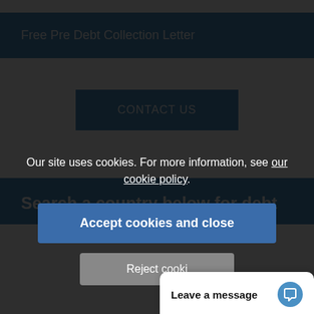Free Pre Debt Collection Letter
CONTACT US
Search a country below for debt
Our site uses cookies. For more information, see our cookie policy.
Accept cookies and close
Reject cooki...
Leave a message